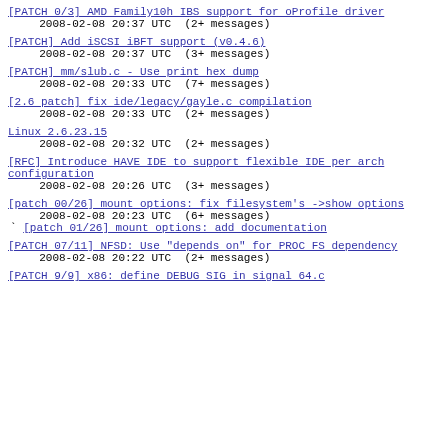[PATCH 0/3] AMD Family10h IBS support for oProfile driver
2008-02-08 20:37 UTC  (2+ messages)
[PATCH] Add iSCSI iBFT support (v0.4.6)
2008-02-08 20:37 UTC  (3+ messages)
[PATCH] mm/slub.c - Use print hex dump
2008-02-08 20:33 UTC  (7+ messages)
[2.6 patch] fix ide/legacy/gayle.c compilation
2008-02-08 20:33 UTC  (2+ messages)
Linux 2.6.23.15
2008-02-08 20:32 UTC  (2+ messages)
[RFC] Introduce HAVE IDE to support flexible IDE per arch configuration
2008-02-08 20:26 UTC  (3+ messages)
[patch 00/26] mount options: fix filesystem's ->show options
2008-02-08 20:23 UTC  (6+ messages)
` [patch 01/26] mount options: add documentation
[PATCH 07/11] NFSD: Use "depends on" for PROC FS dependency
2008-02-08 20:22 UTC  (2+ messages)
[PATCH 9/9] x86: define DEBUG SIG in signal 64.c